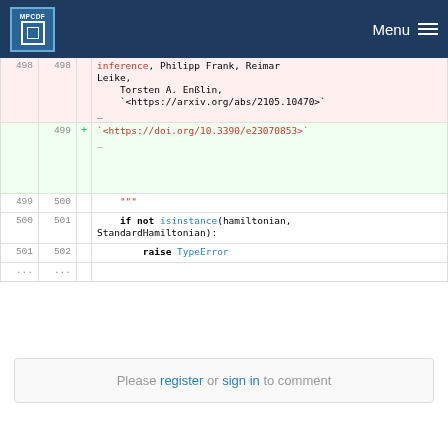MPCDF Menu
Code diff showing lines 498-502 with deleted and added lines in a Python source file
Please register or sign in to comment